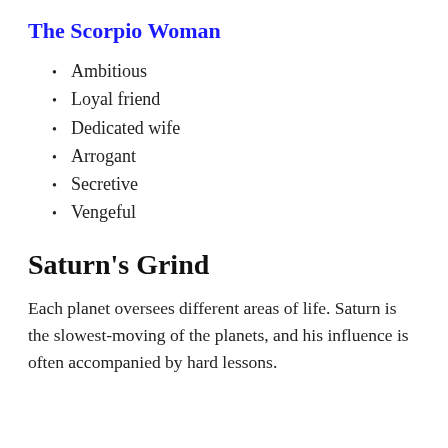The Scorpio Woman
Ambitious
Loyal friend
Dedicated wife
Arrogant
Secretive
Vengeful
Saturn's Grind
Each planet oversees different areas of life. Saturn is the slowest-moving of the planets, and his influence is often accompanied by hard lessons.